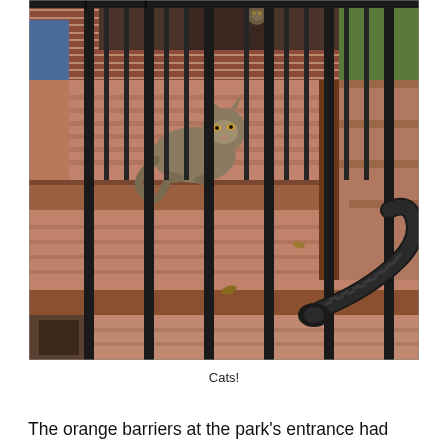[Figure (photo): A calico/tabby cat sitting on brick steps behind black iron fence bars. A black coiled hose or cable is visible on the right side. There appears to be another cat in the background near a door.]
Cats!
The orange barriers at the park's entrance had been pushed aside and the park was full of joggers, families, and cute kids playing soccer. Plus there is a stunning